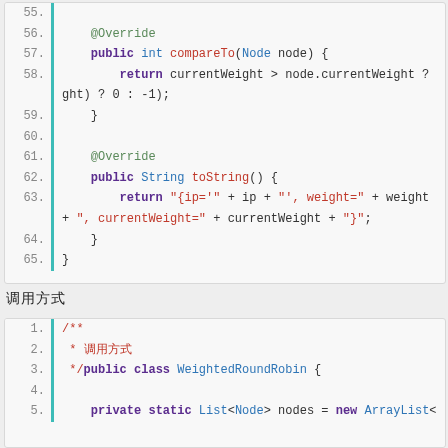[Figure (screenshot): Code block showing Java compareTo method override, lines 55-65, with line numbers and teal left bar]
调用方式
[Figure (screenshot): Code block showing Java WeightedRoundRobin class start, lines 1-5, with Javadoc comment and private static List field]